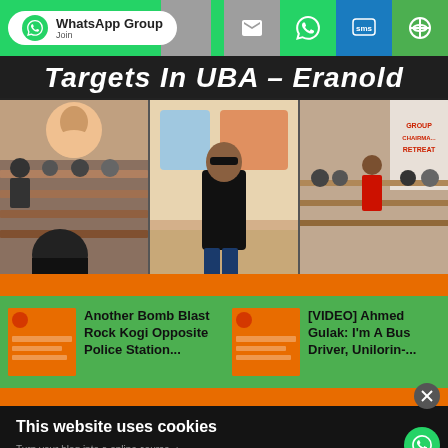WhatsApp Group | Share icons: email, WhatsApp, SMS, other
[Figure (screenshot): Hero news image with bold italic title 'Targets In UBA – Eranold' and three conference/event photos side by side. An orange bar runs below the photos.]
Targets In UBA – Eranold
[Figure (photo): Left photo: conference room with people seated at long tables, a woman on screen.]
[Figure (photo): Center photo: man in all black standing in a colorful room.]
[Figure (photo): Right photo: Group Chairman Retreat event with a man speaking at a table of attendees.]
Another Bomb Blast Rock Kogi Opposite Police Station...
[VIDEO] Ahmed Gulak: I'm A Bus Driver, Unilorin-...
This website uses cookies
Turn your blog into a online course →
OKAY
MORE INFO